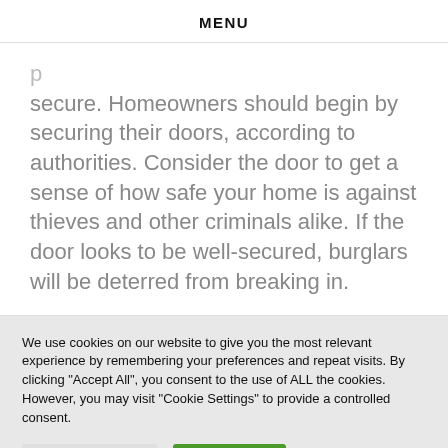MENU
secure. Homeowners should begin by securing their doors, according to authorities. Consider the door to get a sense of how safe your home is against thieves and other criminals alike. If the door looks to be well-secured, burglars will be deterred from breaking in.
We use cookies on our website to give you the most relevant experience by remembering your preferences and repeat visits. By clicking "Accept All", you consent to the use of ALL the cookies. However, you may visit "Cookie Settings" to provide a controlled consent.
Cookie Settings | Accept All